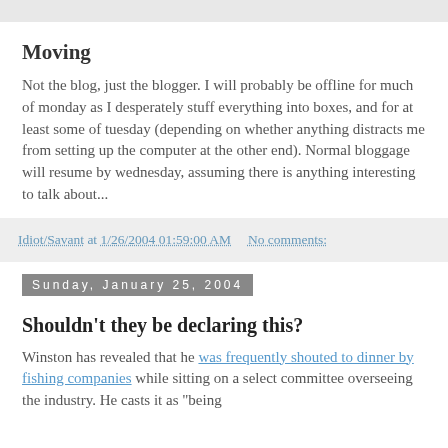Moving
Not the blog, just the blogger. I will probably be offline for much of monday as I desperately stuff everything into boxes, and for at least some of tuesday (depending on whether anything distracts me from setting up the computer at the other end). Normal bloggage will resume by wednesday, assuming there is anything interesting to talk about...
Idiot/Savant at 1/26/2004 01:59:00 AM    No comments:
Sunday, January 25, 2004
Shouldn't they be declaring this?
Winston has revealed that he was frequently shouted to dinner by fishing companies while sitting on a select committee overseeing the industry. He casts it as "being